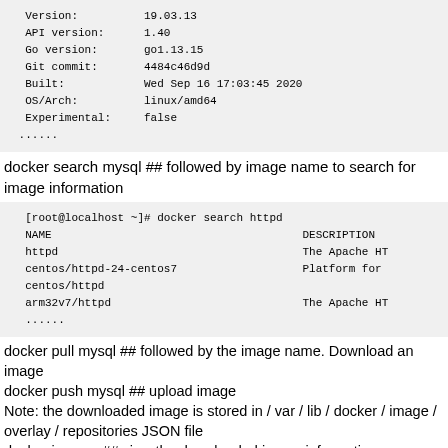[Figure (screenshot): Code block showing docker version output with fields: API version 1.40, Go version go1.13.15, Git commit 4484c46d9d, Built Wed Sep 16 17:03:45 2020, OS/Arch linux/amd64, Experimental false, followed by ......]
docker search mysql ## followed by image name to search for image information
[Figure (screenshot): Code block showing docker search httpd command output with NAME and DESCRIPTION columns listing httpd (The Apache HT), centos/httpd-24-centos7 (Platform for), centos/httpd, arm32v7/httpd (The Apache HT), and ......]
docker pull mysql ## followed by the image name. Download an image
docker push mysql ## upload image
Note: the downloaded image is stored in / var / lib / docker / image / overlay / repositories JSON file
docker images ## view the downloaded image information
[Figure (screenshot): Code block beginning with [root@localhost ~]# docker images]